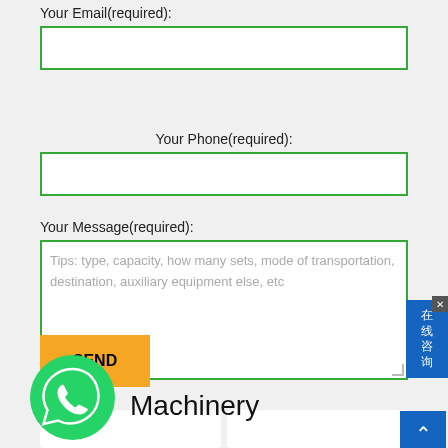Your Email(required):
(email input field)
Your Phone(required):
(phone input field)
Your Message(required):
Tips: type, capacity, how many sets, mode of transportation, destination, auxiliary equipment else, etc
SEND
[Figure (logo): WhatsApp green circular logo icon]
Machinery
[Figure (infographic): Online consultation button in Chinese (在线咨询) in blue, with close X button]
[Figure (infographic): Blue scroll-to-top arrow button]